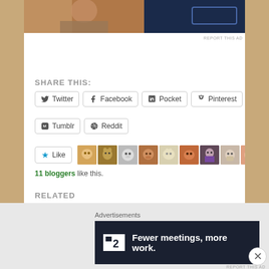[Figure (photo): Partial image visible at top of page - person in warm tones on left, dark navy background on right with white button/rectangle]
SHARE THIS:
Twitter | Facebook | Pocket | Pinterest | Tumblr | Reddit
11 bloggers like this.
RELATED
Excellent Source of Fiber
February 18, 2016
In "animal"
Oshie And Lucy Beach Day!
October 28, 2015
In "animal"
Advertisements
[Figure (screenshot): Dark advertisement banner: logo showing small square with '2' and text 'Fewer meetings, more work.']